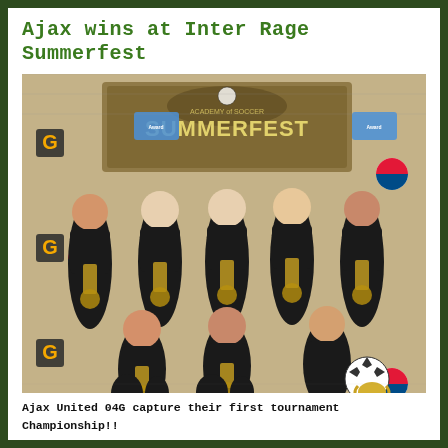Ajax wins at Inter Rage Summerfest
[Figure (photo): Group photo of young girls soccer team (Ajax United 04G) wearing black uniforms and medals, posing in front of a 'Summerfest' banner with Gatorade and Pepsi logos. Back row has five players standing, front row has three players kneeling. One player holds a soccer ball and a trophy is visible.]
Ajax United 04G capture their first tournament Championship!!